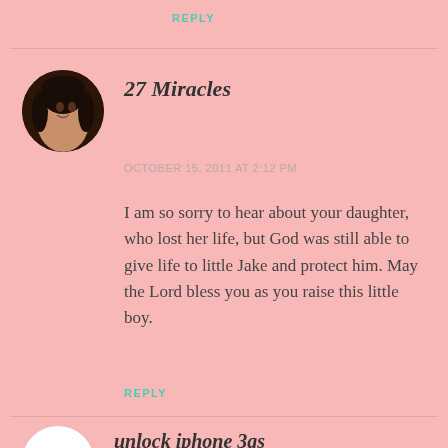REPLY
27 Miracles
OCTOBER 15, 2011 AT 2:12 PM
I am so sorry to hear about your daughter, who lost her life, but God was still able to give life to little Jake and protect him. May the Lord bless you as you raise this little boy.
REPLY
unlock iphone 3gs